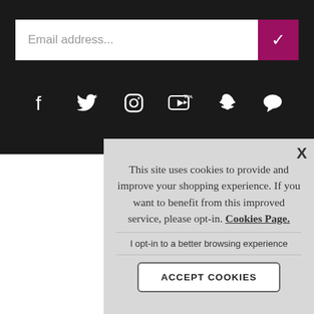[Figure (screenshot): Email subscription input bar with placeholder text 'Email address...' and a magenta/pink submit button with a white checkmark]
[Figure (infographic): Row of white social media icons on dark background: Facebook, Twitter, Instagram, YouTube, Snapchat, Chat/Message]
About Us | Cont
Cookie Policy
© 2022 WILCOX A
This site uses cookies to provide and improve your shopping experience. If you want to benefit from this improved service, please opt-in. Cookies Page.
I opt-in to a better browsing experience
ACCEPT COOKIES